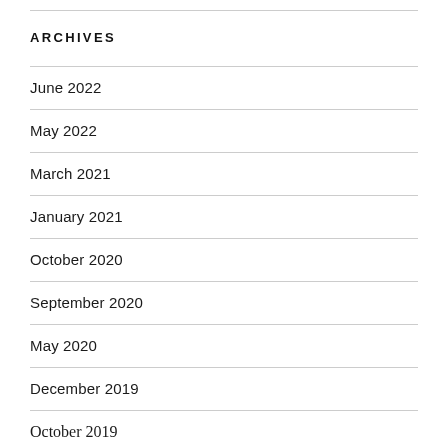ARCHIVES
June 2022
May 2022
March 2021
January 2021
October 2020
September 2020
May 2020
December 2019
October 2019